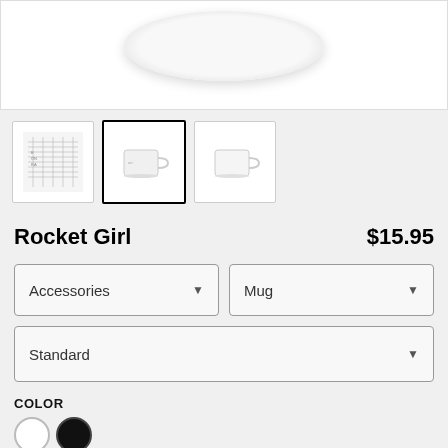[Figure (photo): Top portion of a white ceramic mug product image on white background, showing the rim/top of the mug]
[Figure (photo): Three product thumbnail images: first shows design art close-up, second (selected, black border) shows mug with design, third shows plain white mug]
Rocket Girl
$15.95
Accessories
Mug
Standard
COLOR